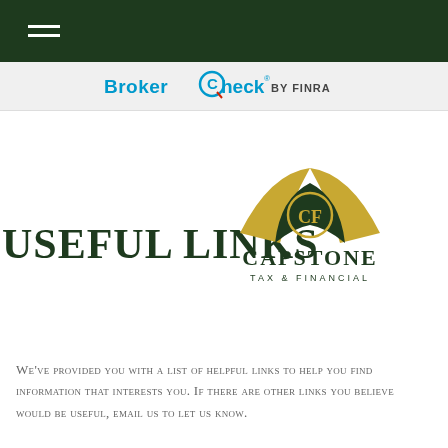[Figure (logo): BrokerCheck by FINRA logo in blue and dark text on light gray bar]
USEFUL LINKS
[Figure (logo): Capstone Tax & Financial logo with green and gold arch/cap shape and CF monogram]
We've provided you with a list of helpful links to help you find information that interests you. If there are other links you believe would be useful, email us to let us know.
Tax S...